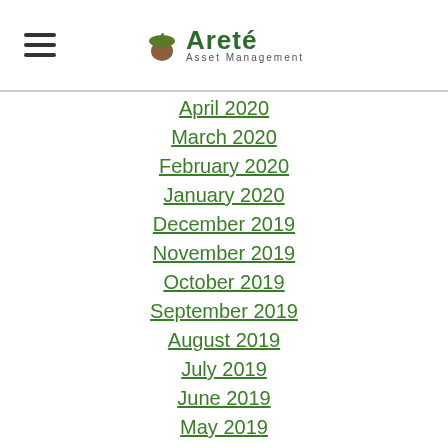Areté Asset Management
April 2020
March 2020
February 2020
January 2020
December 2019
November 2019
October 2019
September 2019
August 2019
July 2019
June 2019
May 2019
April 2019
March 2019
February 2019
January 2019
December 2018
November 2018